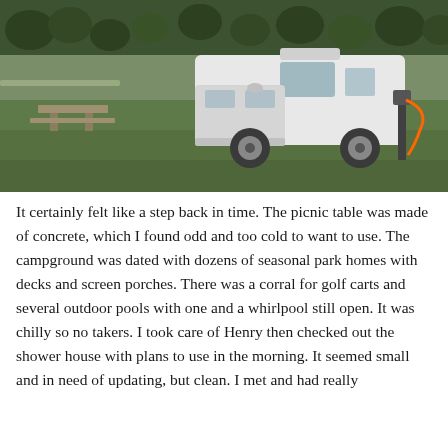[Figure (photo): A white Dodge camper van parked on a green grassy campground. A concrete picnic table is visible to the left, and trees line the background. An electrical hookup post is visible to the right of the van.]
It certainly felt like a step back in time. The picnic table was made of concrete, which I found odd and too cold to want to use. The campground was dated with dozens of seasonal park homes with decks and screen porches. There was a corral for golf carts and several outdoor pools with one and a whirlpool still open. It was chilly so no takers. I took care of Henry then checked out the shower house with plans to use in the morning. It seemed small and in need of updating, but clean. I met and had really